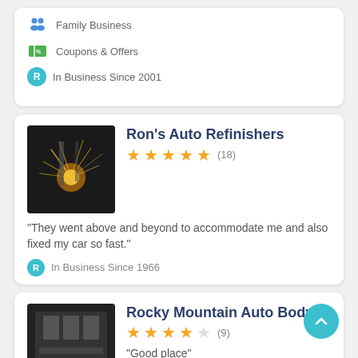Family Business
Coupons & Offers
In Business Since 2001
Ron's Auto Refinishers
★★★★★ (18)
“They went above and beyond to accommodate me and also fixed my car so fast.”
In Business Since 1966
Rocky Mountain Auto Body
★★★★☆ (9)
“Good place”